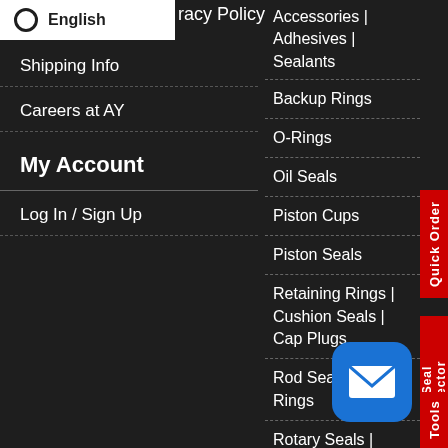[Figure (screenshot): English language selector badge with radio button circle]
racy Policy
Shipping Info
Careers at AY
My Account
Log In / Sign Up
Accessories | Adhesives | Sealants
Backup Rings
O-Rings
Oil Seals
Piston Cups
Piston Seals
Retaining Rings | Cushion Seals | Cap Plugs
Rod Seals | Buffer Rings
Rotary Seals | Swivel Seals
Seal Kits & Replacement Parts
[Figure (other): Quick Order red vertical tab]
[Figure (other): EZ Seal Selector red vertical tab]
[Figure (other): Tools red vertical tab]
[Figure (other): Blue mail icon button]